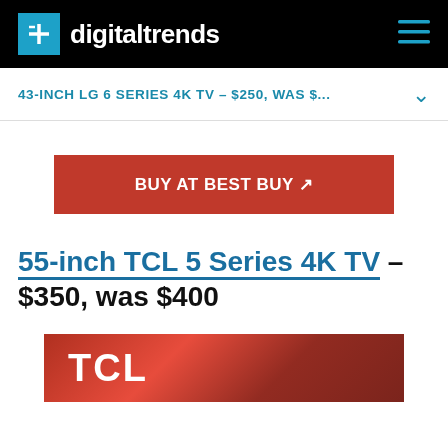digitaltrends
43-INCH LG 6 SERIES 4K TV – $250, WAS $...
[Figure (other): Red 'BUY AT BEST BUY' button with arrow icon]
55-inch TCL 5 Series 4K TV – $350, was $400
[Figure (photo): TCL brand logo on a red background, partial image of TV product]